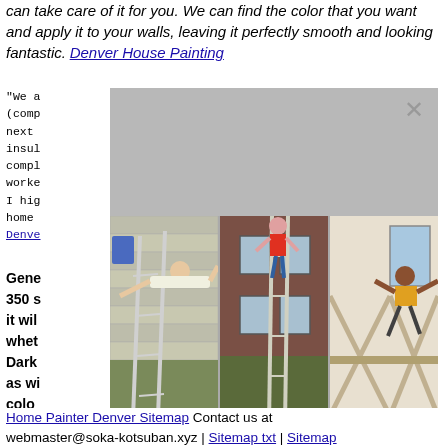can take care of it for you. We can find the color that you want and apply it to your walls, leaving it perfectly smooth and looking fantastic. Denver House Painting
"We a... (comp... very next ... rpet, insul... compl... worke... is. I hig... y home ... rs Denver...
Gene... t 350 s... nted, it wil... n whet... t. Dark... t, as wi... r colo... deter... o buy. ... r, roun... Denver...
[Figure (photo): Modal overlay with gray background and close button (X), containing three side-by-side photos of people on ladders doing house painting work]
Home Painter Denver Sitemap Contact us at webmaster@soka-kotsuban.xyz | Sitemap txt | Sitemap